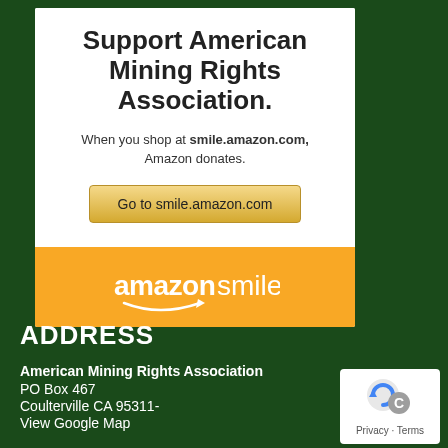[Figure (infographic): Amazon Smile advertisement card with title 'Support American Mining Rights Association.', subtitle 'When you shop at smile.amazon.com, Amazon donates.', a button 'Go to smile.amazon.com', and the Amazon Smile logo on an orange bar.]
ADDRESS
American Mining Rights Association
PO Box 467
Coulterville CA 95311-
View Google Map